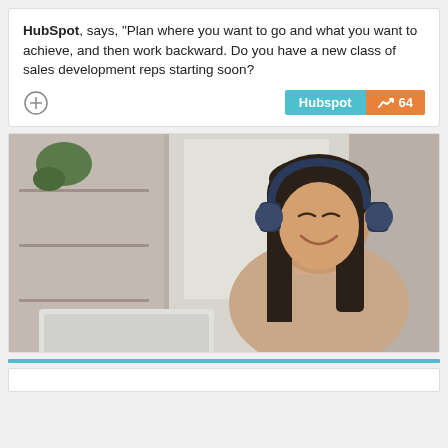HubSpot, says, "Plan where you want to go and what you want to achieve, and then work backward. Do you have a new class of sales development reps starting soon?
[Figure (photo): Woman with dark hair wearing blue headphones, smiling while looking at a laptop screen, sitting in a softly lit room with curtains and shelving in the background.]